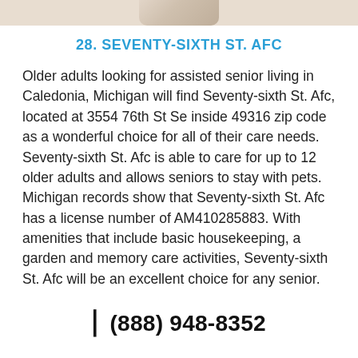[Figure (photo): Partial photo visible at top of page, cropped view of a person]
28. SEVENTY-SIXTH ST. AFC
Older adults looking for assisted senior living in Caledonia, Michigan will find Seventy-sixth St. Afc, located at 3554 76th St Se inside 49316 zip code as a wonderful choice for all of their care needs. Seventy-sixth St. Afc is able to care for up to 12 older adults and allows seniors to stay with pets. Michigan records show that Seventy-sixth St. Afc has a license number of AM410285883. With amenities that include basic housekeeping, a garden and memory care activities, Seventy-sixth St. Afc will be an excellent choice for any senior.
(888) 948-8352